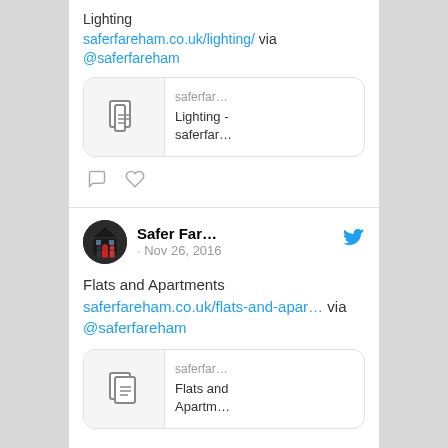Lighting saferfareham.co.uk/lighting/ via @saferfareham
[Figure (screenshot): Link preview card showing document icon, 'saferfar...' domain, 'Lighting - saferfar...' title]
[Figure (infographic): Action icons row: comment bubble and heart/like icon]
[Figure (photo): Safer Fareham Twitter avatar: house with family figures]
Safer Far... · Nov 26, 2016
Flats and Apartments saferfareham.co.uk/flats-and-apar… via @saferfareham
[Figure (screenshot): Link preview card showing document icon, 'saferfar...' domain, 'Flats and Apartm...' title]